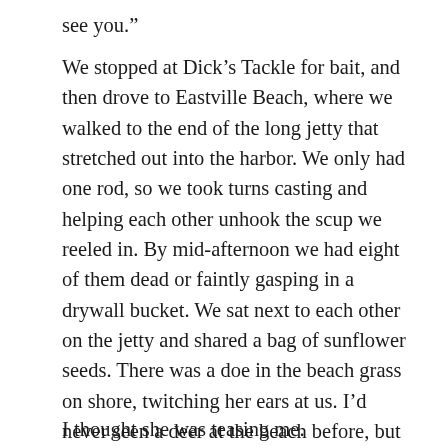see you.”
We stopped at Dick’s Tackle for bait, and then drove to Eastville Beach, where we walked to the end of the long jetty that stretched out into the harbor. We only had one rod, so we took turns casting and helping each other unhook the scup we reeled in. By mid-afternoon we had eight of them dead or faintly gasping in a drywall bucket. We sat next to each other on the jetty and shared a bag of sunflower seeds. There was a doe in the beach grass on shore, twitching her ears at us. I’d never seen a deer at the beach before, but my mom said they liked to swim. They’d swum across the sound from off-island once. “Four miles,” she said.
I thought she was teasing me.